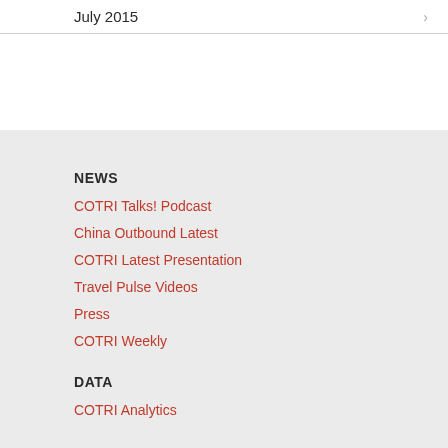July 2015
NEWS
COTRI Talks! Podcast
China Outbound Latest
COTRI Latest Presentation
Travel Pulse Videos
Press
COTRI Weekly
DATA
COTRI Analytics